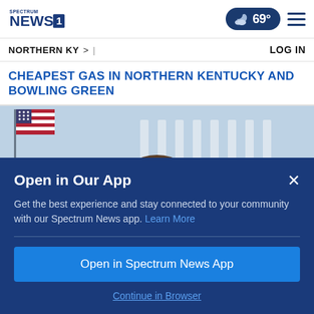Spectrum News 1 — NORTHERN KY > | LOG IN — 69°
CHEAPEST GAS IN NORTHERN KENTUCKY AND BOWLING GREEN
[Figure (photo): Photo of a person partially visible from above, with American flags and a white columned building (White House) in the background, blurred]
Open in Our App
Get the best experience and stay connected to your community with our Spectrum News app. Learn More
Open in Spectrum News App
Continue in Browser